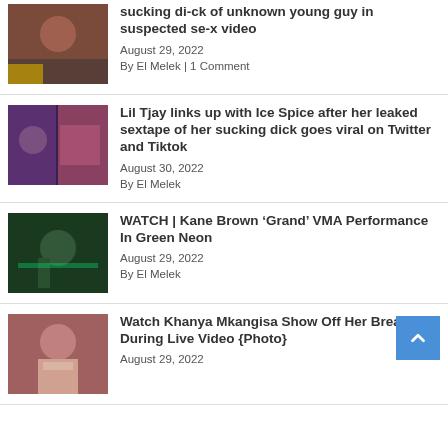sucking di-ck of unknown young guy in suspected se-x video
August 29, 2022
By El Melek | 1 Comment
Lil Tjay links up with Ice Spice after her leaked sextape of her sucking dick goes viral on Twitter and Tiktok
August 30, 2022
By El Melek
WATCH | Kane Brown ‘Grand’ VMA Performance In Green Neon
August 29, 2022
By El Melek
Watch Khanya Mkangisa Show Off Her Breast During Live Video {Photo}
August 29, 2022